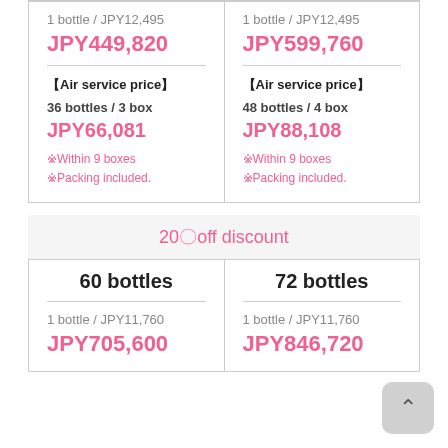1 bottle / JPY12,495
JPY449,820
1 bottle / JPY12,495
JPY599,760
【Air service price】
36 bottles / 3 box
JPY66,081
※Within 9 boxes
※Packing included.
【Air service price】
48 bottles / 4 box
JPY88,108
※Within 9 boxes
※Packing included.
20〇off discount
60 bottles
72 bottles
1 bottle / JPY11,760
JPY705,600
1 bottle / JPY11,760
JPY846,720